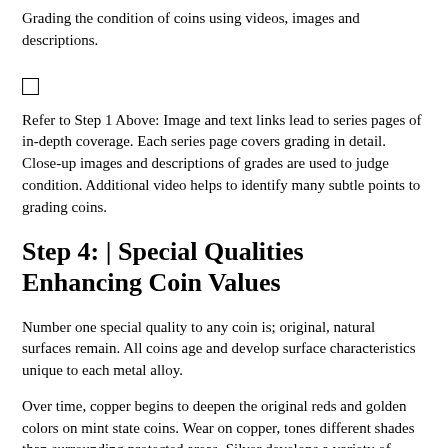Grading the condition of coins using videos, images and descriptions.
[Figure (other): A small checkbox or square icon symbol]
Refer to Step 1 Above: Image and text links lead to series pages of in-depth coverage. Each series page covers grading in detail. Close-up images and descriptions of grades are used to judge condition. Additional video helps to identify many subtle points to grading coins.
Step 4: | Special Qualities Enhancing Coin Values
Number one special quality to any coin is; original, natural surfaces remain. All coins age and develop surface characteristics unique to each metal alloy.
Over time, copper begins to deepen the original reds and golden colors on mint state coins. Wear on copper, tones different shades than surrounding protected areas. Silver develops a variety of colors, blues, violets with reddish tints, shades of silver greys on circulated pieces. Gold coins alloyed with copper deepen in color in subtle ways. Slight shading among design elements on gold